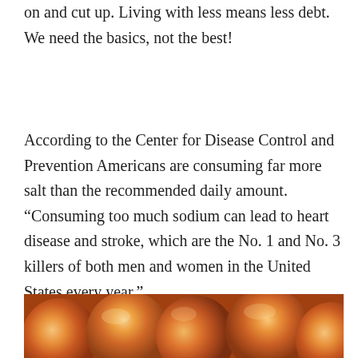on and cut up. Living with less means less debt.  We need the basics, not the best!
According to the Center for Disease Control and Prevention Americans are consuming far more salt than the recommended daily amount. “Consuming too much sodium can lead to heart disease and stroke, which are the No. 1 and No. 3 killers of both men and women in the United States every year.”
[Figure (photo): Close-up photo of peaches piled together, showing warm orange, red, and yellow tones.]